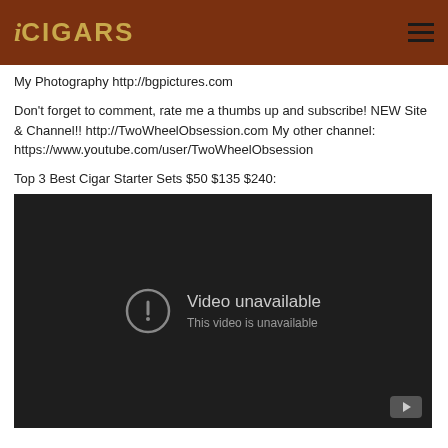iCIGARS
My Photography http://bgpictures.com
Don't forget to comment, rate me a thumbs up and subscribe! NEW Site & Channel!! http://TwoWheelObsession.com My other channel: https://www.youtube.com/user/TwoWheelObsession
Top 3 Best Cigar Starter Sets $50 $135 $240:
[Figure (screenshot): Embedded YouTube video player showing 'Video unavailable - This video is unavailable' message on a dark background]